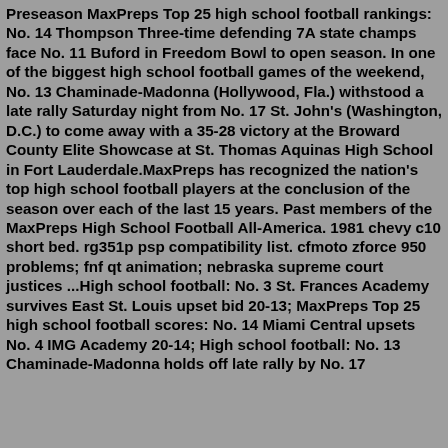Preseason MaxPreps Top 25 high school football rankings: No. 14 Thompson Three-time defending 7A state champs face No. 11 Buford in Freedom Bowl to open season. In one of the biggest high school football games of the weekend, No. 13 Chaminade-Madonna (Hollywood, Fla.) withstood a late rally Saturday night from No. 17 St. John's (Washington, D.C.) to come away with a 35-28 victory at the Broward County Elite Showcase at St. Thomas Aquinas High School in Fort Lauderdale.MaxPreps has recognized the nation's top high school football players at the conclusion of the season over each of the last 15 years. Past members of the MaxPreps High School Football All-America. 1981 chevy c10 short bed. rg351p psp compatibility list. cfmoto zforce 950 problems; fnf qt animation; nebraska supreme court justices ...High school football: No. 3 St. Frances Academy survives East St. Louis upset bid 20-13; MaxPreps Top 25 high school football scores: No. 14 Miami Central upsets No. 4 IMG Academy 20-14; High school football: No. 13 Chaminade-Madonna holds off late rally by No. 17